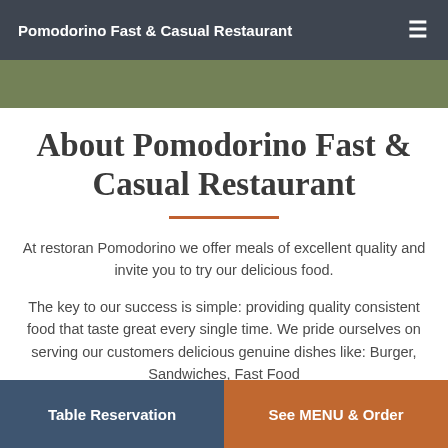Pomodorino Fast & Casual Restaurant
About Pomodorino Fast & Casual Restaurant
At restoran Pomodorino we offer meals of excellent quality and invite you to try our delicious food.
The key to our success is simple: providing quality consistent food that taste great every single time. We pride ourselves on serving our customers delicious genuine dishes like: Burger, Sandwiches, Fast Food
Table Reservation | See MENU & Order